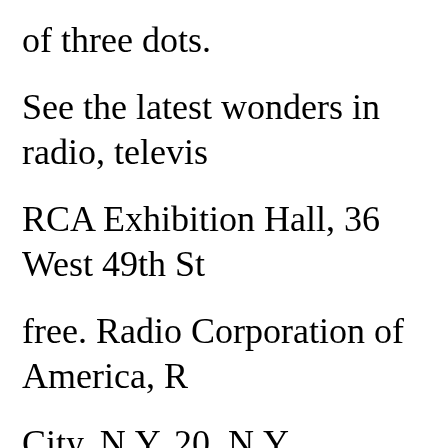of three dots.

See the latest wonders in radio, televis

RCA Exhibition Hall, 36 West 49th St

free. Radio Corporation of America, R

City, N.Y. 20, N.Y.

Today RCA Communications sends an

million words each year across the Atl

automatically recorded on tape, for er